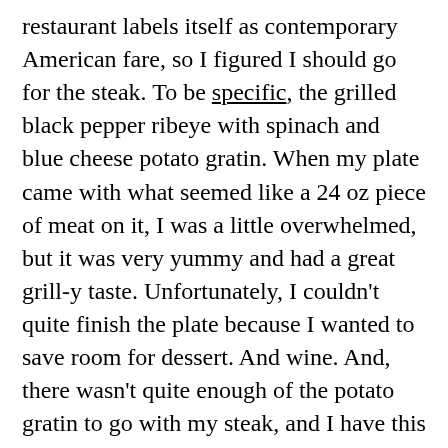restaurant labels itself as contemporary American fare, so I figured I should go for the steak. To be specific, the grilled black pepper ribeye with spinach and blue cheese potato gratin. When my plate came with what seemed like a 24 oz piece of meat on it, I was a little overwhelmed, but it was very yummy and had a great grill-y taste. Unfortunately, I couldn't quite finish the plate because I wanted to save room for dessert. And wine. And, there wasn't quite enough of the potato gratin to go with my steak, and I have this weird thing, where  I can't eat meat without some kind of carby/starchy side.